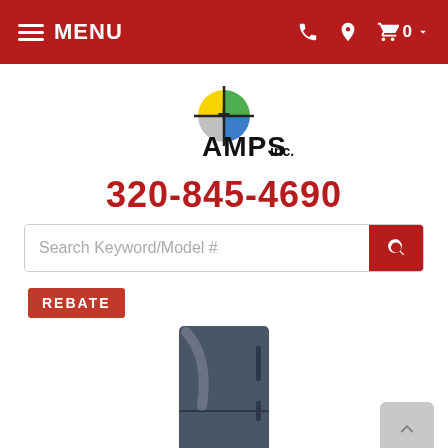MENU — navigation bar with phone, location, and cart icons
[Figure (logo): AMPS inc. logo with colored crosshair/target symbol above bold AMPS text]
320-845-4690
Search Keyword/Model #
REBATE
[Figure (photo): Dark charcoal/slate colored tall refrigerator product image]